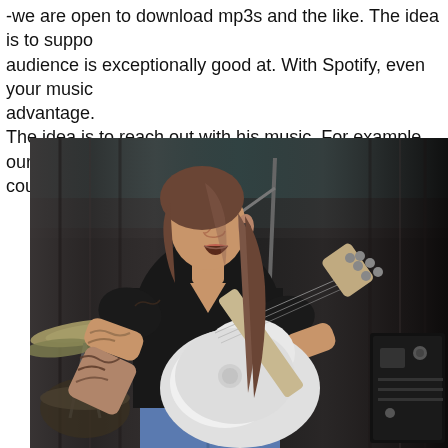-we are open to download mp3s and the like. The idea is to support audience is exceptionally good at. With Spotify, even your music advantage. The idea is to reach out with his music. For example, our song M country, including Sweden.
[Figure (photo): A woman with long brown hair wearing a black t-shirt playing a white electric guitar (Les Paul style) on stage, singing into a microphone. She has tattoos on her arms. A drum kit is visible on the left, and audio equipment on the right. The background shows dark curtains with stage lighting.]